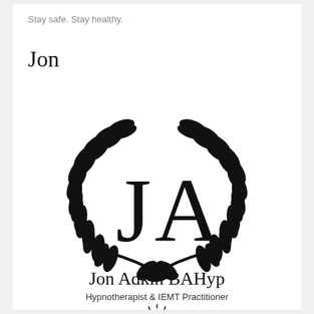Stay safe. Stay healthy.
Jon
[Figure (logo): Jon Adkin BAHyp logo: monogram letters JA surrounded by laurel wreath, with text 'Jon Adkin BAHyp' and 'Hypnotherapist & IEMT Practitioner' below]